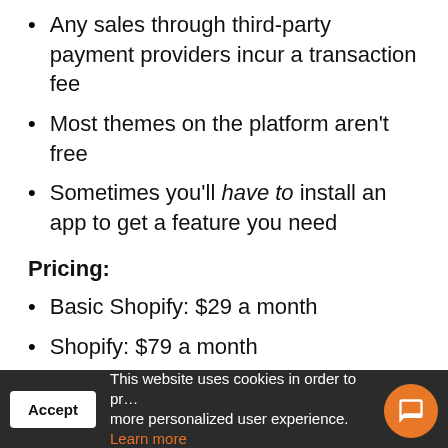Any sales through third-party payment providers incur a transaction fee
Most themes on the platform aren't free
Sometimes you'll have to install an app to get a feature you need
Pricing:
Basic Shopify: $29 a month
Shopify: $79 a month
Advanced Shopify: $299 a month
This website uses cookies in order to provide a more personalized user experience. Learn more